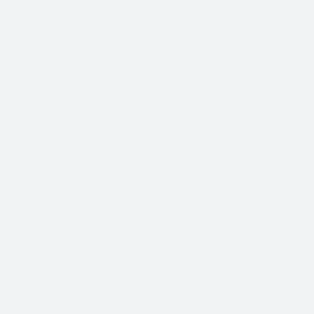MEDICARE FRANCAIS – Pour mieux prendre soin de vous, dans votre langue
[Figure (logo): Medicare Francais logo — circular icon with red and blue sections on white background]
<img alt="MEDICARE FRANCAIS" width="768" height="319" data-src="https://medicarefrancais.com/wp-content/uploads/2022/02/logo-official.png" class="webique_logo_img lazyload" src="data:image/gif;base64,R0lGODlhAQABAAAAAACH5BAEKAAEALAAAAAABAAEAAAICTAEAOw==" /><noscript><img class="webique_logo_img" src="https://medicarefrancais.com/wp-content/uploads/2022/02/logo-official.png" alt="MEDICARE FRANCAIS" width="768" height="319" /><img alt="MEDICARE FRANCAIS" width="384" height="160" data-src="https://medicarefrancais.com/wp-content/uploads/2022/02/logo-official.png" class="webique_logo_img_retina lazyload" src="data:image/gif;base64,R0lGODlhAQABAAAAAACH5BAEKAAEALAAAAAABAAEAAAICTAEAOw==" /><noscript><img class="webique_logo_img_retina" src="https://medicarefrancais.com/wp-content/uploads/2022/02/logo-official.png" alt="MEDICARE FRANCAIS" width="384" height="160" /><img alt="MEDICARE FRANCAIS" width="768" height="319" data-